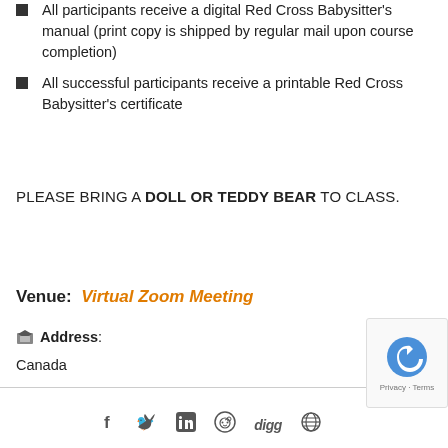All participants receive a digital Red Cross Babysitter's manual (print copy is shipped by regular mail upon course completion)
All successful participants receive a printable Red Cross Babysitter's certificate
PLEASE BRING A DOLL OR TEDDY BEAR TO CLASS.
Venue:  Virtual Zoom Meeting
Address: Canada
Social share icons: Facebook, Twitter, LinkedIn, Reddit, Digg, Globe